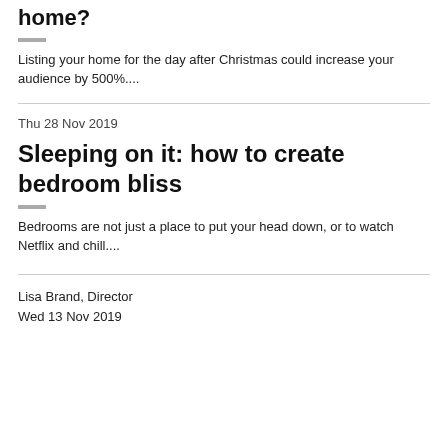home?
Listing your home for the day after Christmas could increase your audience by 500%....
Thu 28 Nov 2019
Sleeping on it: how to create bedroom bliss
Bedrooms are not just a place to put your head down, or to watch Netflix and chill....
Lisa Brand, Director
Wed 13 Nov 2019